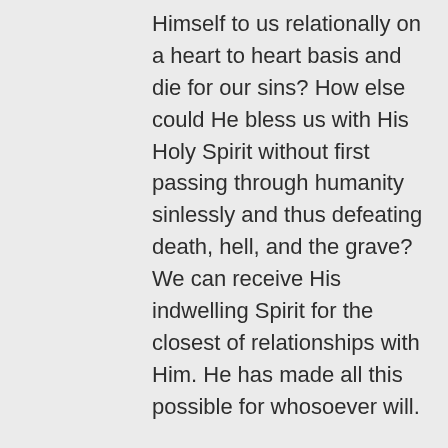Himself to us relationally on a heart to heart basis and die for our sins? How else could He bless us with His Holy Spirit without first passing through humanity sinlessly and thus defeating death, hell, and the grave? We can receive His indwelling Spirit for the closest of relationships with Him. He has made all this possible for whosoever will.

Thank you again for reading and blessings to you.